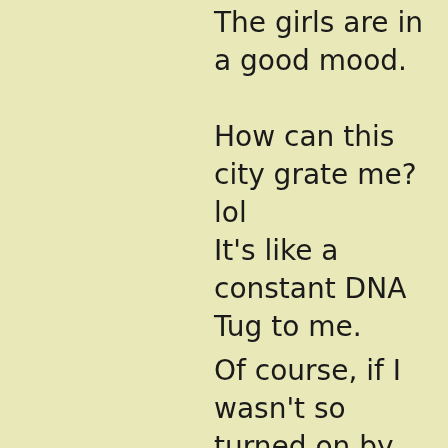The girls are in a good mood.
How can this city grate me? lol
It's like a constant DNA Tug to me.
Of course, if I wasn't so turned on by the girls. I'd probably hate the city. I have been to Brazil, for example, and I think girls there are ugly as fuck, although some great bodies